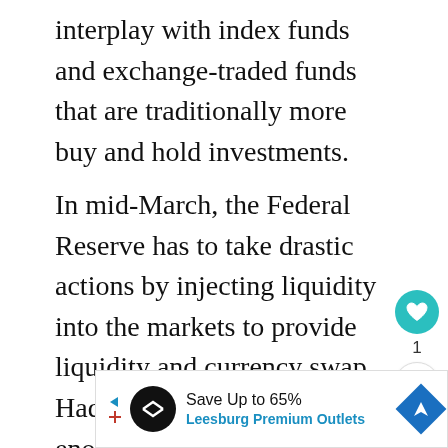interplay with index funds and exchange-traded funds that are traditionally more buy and hold investments.
In mid-March, the Federal Reserve has to take drastic actions by injecting liquidity into the markets to provide liquidity and currency swap. Had they not moved fast enough, there might be greater distress in the markets.
[Figure (other): UI action buttons: a teal heart/like button, a count of 1, and a share button]
[Figure (other): Advertisement banner: Save Up to 65% - Leesburg Premium Outlets, with logo and navigation icon]